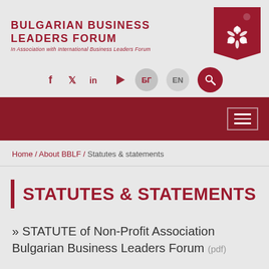[Figure (logo): Bulgarian Business Leaders Forum logo with tag/ribbon shape in dark red on the right]
BULGARIAN BUSINESS LEADERS FORUM
In Association with International Business Leaders Forum
[Figure (screenshot): Social media icons row: Facebook, Twitter, LinkedIn, play/video, BG language button, EN language button, search button]
[Figure (screenshot): Dark red navigation bar with hamburger menu icon on the right]
Home / About BBLF / Statutes & statements
STATUTES & STATEMENTS
» STATUTE of Non-Profit Association Bulgarian Business Leaders Forum (pdf)